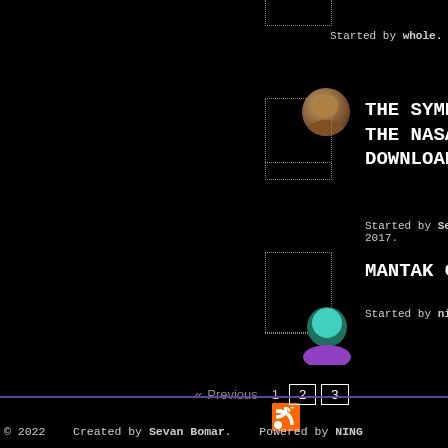Started by whole.
THE SYMPHO... THE NASA V... DOWNLOAD 6
Started by Sevan B... 2017.
MANTAK CHI...
Started by nima.
« Previous   1   2   3
© 2022   Created by Sevan Bomar.   Powered by NING